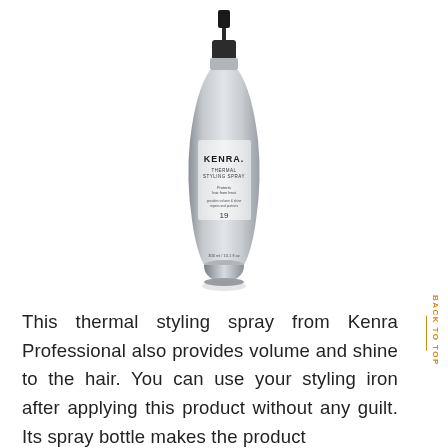[Figure (photo): Kenra Professional Thermal Styling Spray bottle (number 19), a silver pump spray bottle with black cap, 300ml/10.1fl oz]
This thermal styling spray from Kenra Professional also provides volume and shine to the hair. You can use your styling iron after applying this product without any guilt. Its spray bottle makes the product